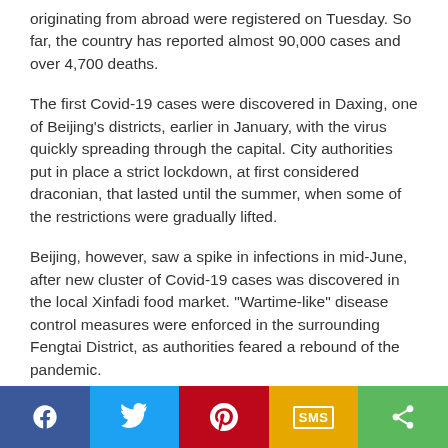originating from abroad were registered on Tuesday. So far, the country has reported almost 90,000 cases and over 4,700 deaths.
The first Covid-19 cases were discovered in Daxing, one of Beijing’s districts, earlier in January, with the virus quickly spreading through the capital. City authorities put in place a strict lockdown, at first considered draconian, that lasted until the summer, when some of the restrictions were gradually lifted.
Beijing, however, saw a spike in infections in mid-June, after new cluster of Covid-19 cases was discovered in the local Xinfadi food market. “Wartime-like” disease control measures were enforced in the surrounding Fengtai District, as authorities feared a rebound of the pandemic.
[Figure (other): Social sharing bar with Facebook, Twitter, Pinterest, SMS, and Share buttons]